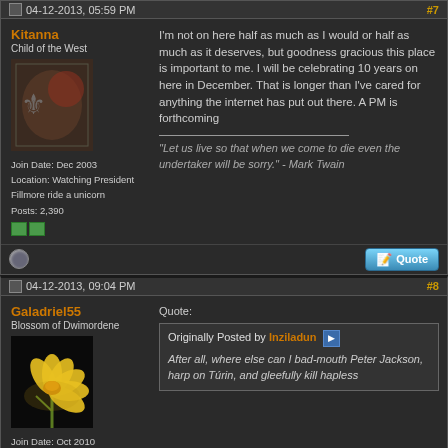04-12-2013, 05:59 PM  #7
Kitanna
Child of the West
Join Date: Dec 2003
Location: Watching President Fillmore ride a unicorn
Posts: 2,390
I'm not on here half as much as I would or half as much as it deserves, but goodness gracious this place is important to me. I will be celebrating 10 years on here in December. That is longer than I've cared for anything the internet has put out there. A PM is forthcoming

"Let us live so that when we come to die even the undertaker will be sorry." - Mark Twain
04-12-2013, 09:04 PM  #8
Galadriel55
Blossom of Dwimordene
Join Date: Oct 2010
Quote:
Originally Posted by Inziladun
After all, where else can I bad-mouth Peter Jackson, harp on Túrin, and gleefully kill hapless